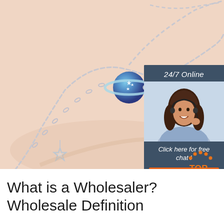[Figure (photo): Silver chain bracelet/necklace with a planet-shaped blue gemstone pendant and star charms, photographed on a peach/beige background]
[Figure (infographic): Customer service chat widget with '24/7 Online' header, photo of smiling woman with headset, 'Click here for free chat!' text, and orange QUOTATION button]
[Figure (logo): Orange TOP button icon with dot pattern above the text]
What is a Wholesaler? Wholesale Definition